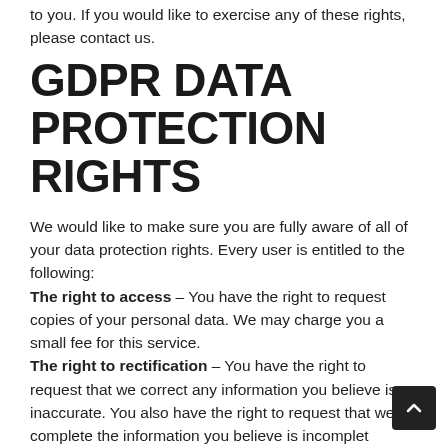to you. If you would like to exercise any of these rights, please contact us.
GDPR DATA PROTECTION RIGHTS
We would like to make sure you are fully aware of all of your data protection rights. Every user is entitled to the following:
The right to access – You have the right to request copies of your personal data. We may charge you a small fee for this service.
The right to rectification – You have the right to request that we correct any information you believe is inaccurate. You also have the right to request that we complete the information you believe is incomplete.
The right to erasure – You have the right to request that we erase your personal data, under certain